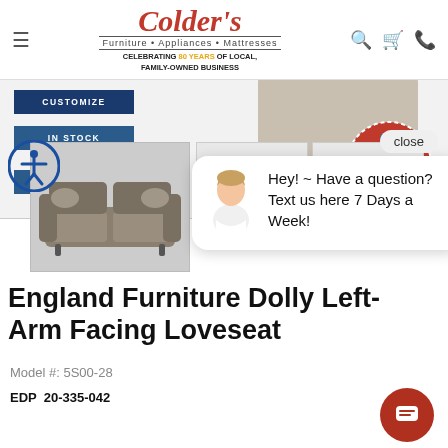[Figure (logo): Colder's Furniture Appliances Mattresses logo with tagline celebrating 80 years of local, family-owned business]
[Figure (infographic): Labor Day Sale badge with red circular design and people graphic]
[Figure (photo): England Furniture Dolly Left-Arm Facing Loveseat in gray/taupe fabric]
[Figure (screenshot): Chat popup with person avatar: Hey! ~ Have a question? Text us here 7 Days a Week!]
CUSTOMIZE
IN STOCK
50% + 20% OFF
England Furniture Dolly Left-Arm Facing Loveseat
Model #: 5S00-28
EDP  20-335-042